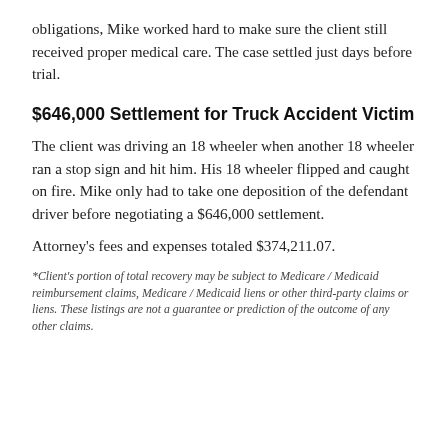obligations, Mike worked hard to make sure the client still received proper medical care. The case settled just days before trial.
$646,000 Settlement for Truck Accident Victim
The client was driving an 18 wheeler when another 18 wheeler ran a stop sign and hit him. His 18 wheeler flipped and caught on fire. Mike only had to take one deposition of the defendant driver before negotiating a $646,000 settlement.
Attorney's fees and expenses totaled $374,211.07.
*Client's portion of total recovery may be subject to Medicare / Medicaid reimbursement claims, Medicare / Medicaid liens or other third-party claims or liens. These listings are not a guarantee or prediction of the outcome of any other claims.